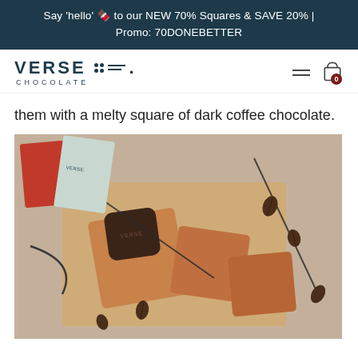Say 'hello' 🍫 to our NEW 70% Squares & SAVE 20% | Promo: 70DONEBETTER
[Figure (logo): Verse Chocolate logo with dot grid and line pattern, text VERSE CHOCOLATE]
them with a melty square of dark coffee chocolate.
[Figure (photo): Overhead photo of Verse Chocolate branded dark chocolate square on top of golden-brown toast/fudge squares, surrounded by coffee beans, with chocolate packaging bags in the background and dark metal wire elements, on parchment paper.]